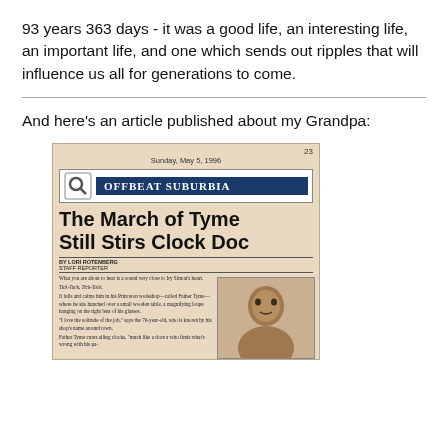93 years 363 days - it was a good life, an interesting life, an important life, and one which sends out ripples that will influence us all for generations to come.
And here's an article published about my Grandpa:
[Figure (photo): Scanned newspaper clipping showing 'Offbeat Suburbia' section header with magnifying glass logo, article titled 'The March of Tyme Still Stirs Clock Doc' by Lori Rotenberg, Staff Reporter, dated Sunday, May 5, 1996, page 23. Article text describes Iry Simon in his Princeton workshop called Father Tyme, and includes a partial photo of a person.]